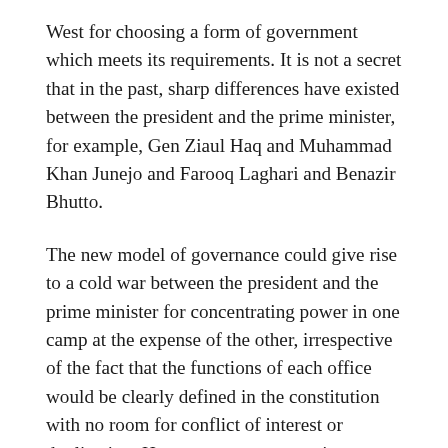West for choosing a form of government which meets its requirements. It is not a secret that in the past, sharp differences have existed between the president and the prime minister, for example, Gen Ziaul Haq and Muhammad Khan Junejo and Farooq Laghari and Benazir Bhutto.
The new model of governance could give rise to a cold war between the president and the prime minister for concentrating power in one camp at the expense of the other, irrespective of the fact that the functions of each office would be clearly defined in the constitution with no room for conflict of interest or duplication. However, to ensure against a political impasse caused by rivalry between the president and the prime minister for control of political power, the constitution should require that if as a result of such rivalry, the president succeeds in removing a prime minister through a vote of no confidence, he too will have to resign within 90 days of the departure of the prime minister and seek a fresh mandate from the people.